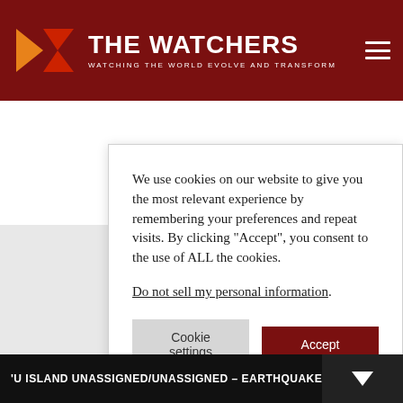THE WATCHERS — WATCHING THE WORLD EVOLVE AND TRANSFORM
We use cookies on our website to give you the most relevant experience by remembering your preferences and repeat visits. By clicking “Accept”, you consent to the use of ALL the cookies.
Do not sell my personal information.
Cookie settings  Accept
'U ISLAND UNASSIGNED/UNASSIGNED – EARTHQUAKE SWAR